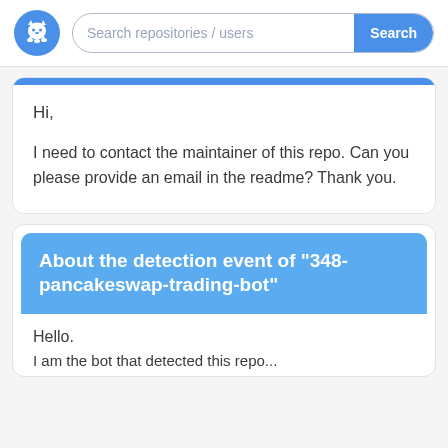[Figure (screenshot): GitHub logo: white cat silhouette on blue circle]
Search repositories / users
Search
Hi,
I need to contact the maintainer of this repo. Can you please provide an email in the readme? Thank you.
About the detection event of "348-pancakeswap-trading-bot"
Hello.